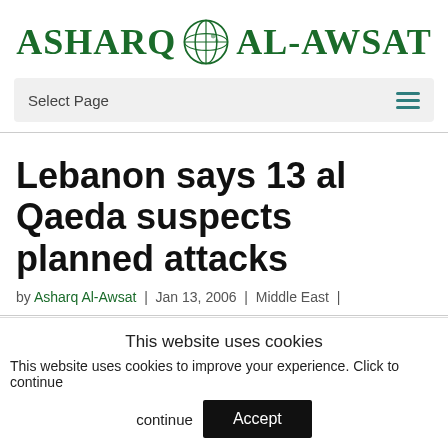[Figure (logo): Asharq Al-Awsat newspaper logo with globe icon in green]
Select Page
Lebanon says 13 al Qaeda suspects planned attacks
by Asharq Al-Awsat | Jan 13, 2006 | Middle East |
This website uses cookies
This website uses cookies to improve your experience. Click to continue
Accept